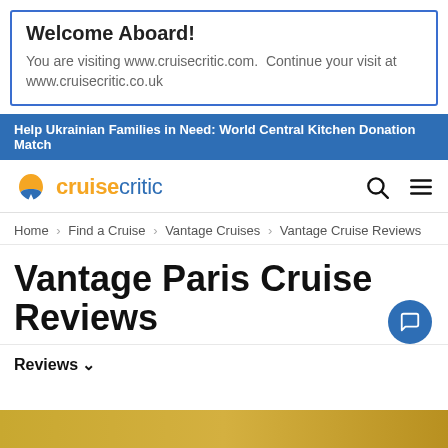Welcome Aboard!
You are visiting www.cruisecritic.com.  Continue your visit at www.cruisecritic.co.uk
Help Ukrainian Families in Need: World Central Kitchen Donation Match
[Figure (logo): Cruise Critic logo with orange C icon and blue/orange wordmark]
Home > Find a Cruise > Vantage Cruises > Vantage Cruise Reviews
Vantage Paris Cruise Reviews
Reviews v